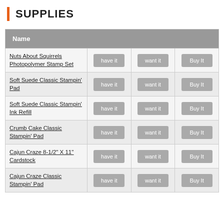SUPPLIES
| Name |  |  |  |
| --- | --- | --- | --- |
| Nuts About Squirrels Photopolymer Stamp Set | have it | want it | Buy It |
| Soft Suede Classic Stampin' Pad | have it | want it | Buy It |
| Soft Suede Classic Stampin' Ink Refill | have it | want it | Buy It |
| Crumb Cake Classic Stampin' Pad | have it | want it | Buy It |
| Cajun Craze 8-1/2" X 11" Cardstock | have it | want it | Buy It |
| Cajun Craze Classic Stampin' Pad | have it | want it | Buy It |